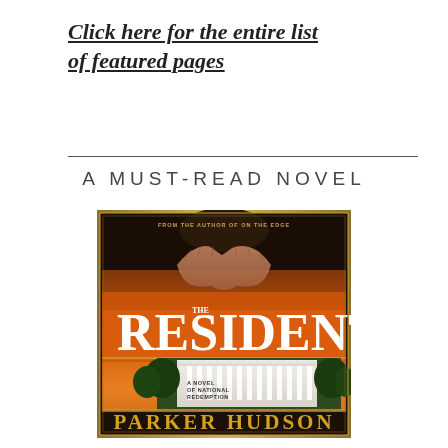Click here for the entire list of featured pages
[Figure (illustration): Book cover for 'The President' by Parker Hudson. Dark atmospheric cover showing clasped hands above the White House. Subtitle reads 'A Novel of National Redemption'. Text at top reads 'From the author of On the Edge'.]